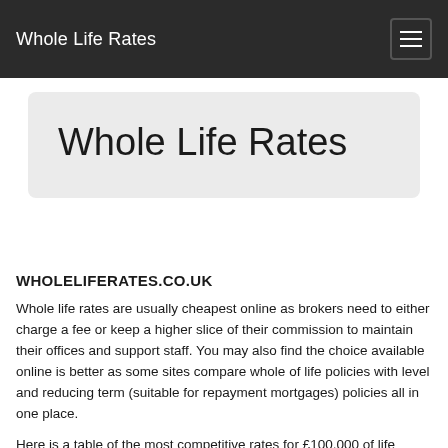Whole Life Rates
Whole Life Rates
WHOLELIFERATES.CO.UK
Whole life rates are usually cheapest online as brokers need to either charge a fee or keep a higher slice of their commission to maintain their offices and support staff. You may also find the choice available online is better as some sites compare whole of life policies with level and reducing term (suitable for repayment mortgages) policies all in one place.
Here is a table of the most competitive rates for £100,000 of life